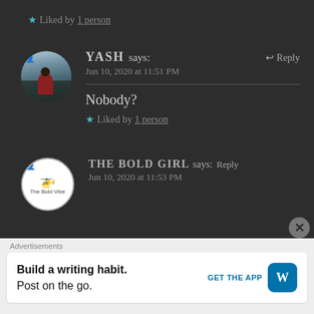★ Liked by 1 person
YASH says: Jun 10, 2020 at 11:51 PM — Reply
Nobody?
★ Liked by 1 person
THE BOLD GIRL says: Jun 10, 2020 at 11:53 PM — Reply
Advertisements
Build a writing habit. Post on the go. GET THE APP [WordPress]